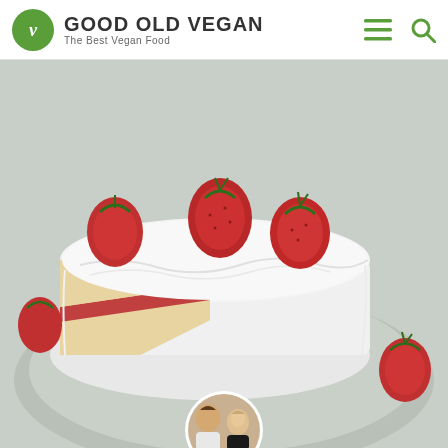GOOD OLD VEGAN — The Best Vegan Food
[Figure (photo): A white-frosted layered cake with strawberry jam filling, sliced to show the interior, topped with fresh whole strawberries, placed on a light gray plate. A small circular avatar photo of a couple is partially visible at the bottom center.]